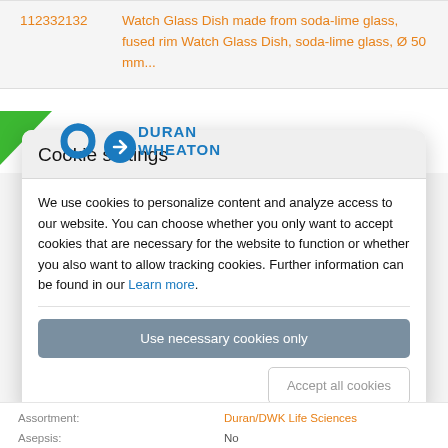112332132	Watch Glass Dish made from soda-lime glass, fused rim Watch Glass Dish, soda-lime glass, Ø 50 mm...
[Figure (logo): Duran Wheaton logo with green triangle in top-left corner, blue S-shaped figure, blue arrow figure, and blue text DURAN WHEATON]
Cookie settings
We use cookies to personalize content and analyze access to our website. You can choose whether you only want to accept cookies that are necessary for the website to function or whether you also want to allow tracking cookies. Further information can be found in our Learn more.
Use necessary cookies only
Accept all cookies
Assortment:
Asepsis:
Duran/DWK Life Sciences
No